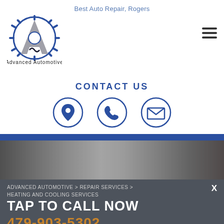Best Auto Repair, Rogers
[Figure (logo): Advanced Automotive logo with gear and letter A]
CONTACT US
[Figure (infographic): Three circular icons: location pin, phone, envelope]
[Figure (photo): Grayscale photo of mechanic working on car]
ADVANCED AUTOMOTIVE > REPAIR SERVICES > HEATING AND COOLING SERVICES
TAP TO CALL NOW
479-903-5302
479-903-5302 | 2412 S 8th St Rogers, AR 72758
Auto A/C & Heating